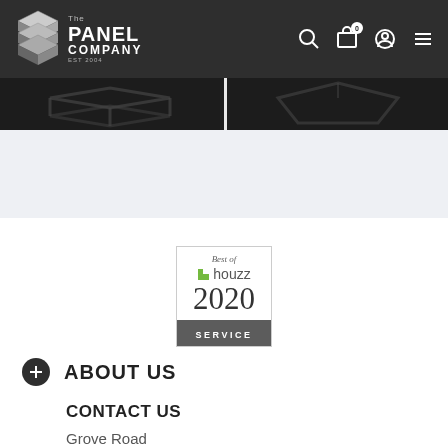The Panel Company EST 2004
[Figure (screenshot): Dark banner section showing partial images/icons on dark background]
[Figure (logo): Best of Houzz 2020 SERVICE badge - bordered box with Houzz logo, year 2020, and dark SERVICE bar]
ABOUT US
CONTACT US
Grove Road